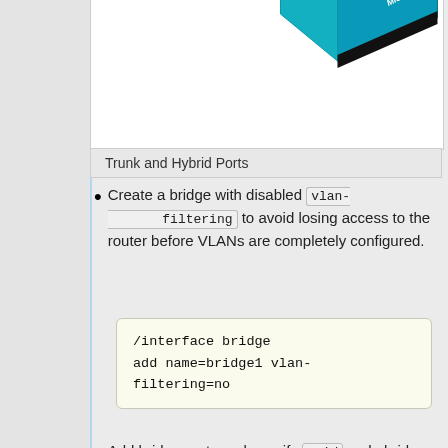[Figure (illustration): Network diagram showing tagged VLAN200, VLAN300, VLAN400 labels with a MikroTik router illustration, colored bars at top (red, blue, green)]
Trunk and Hybrid Ports
Create a bridge with disabled vlan-filtering to avoid losing access to the router before VLANs are completely configured.
[Figure (screenshot): /interface bridge
add name=bridge1 vlan-filtering=no]
Add bridge ports and specify pvid on hybrid VLAN ports to assign untagged traffic to the intended VLAN.
[Figure (screenshot): /interface bridge port
add bridge=bridge1
interface=ether2]